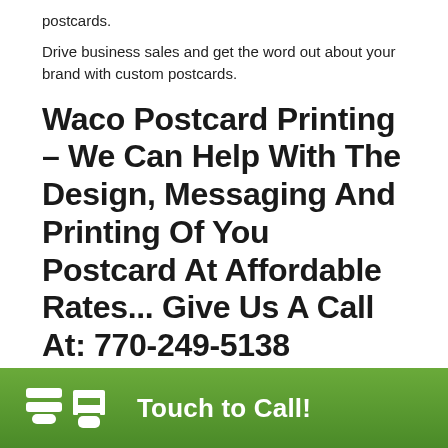postcards.
Drive business sales and get the word out about your brand with custom postcards.
Waco Postcard Printing – We Can Help With The Design, Messaging And Printing Of You Postcard At Affordable Rates... Give Us A Call At: 770-249-5138
FULL COLOR POSTCARD PRINTING
Printing Mast Ha...
Touch to Call!